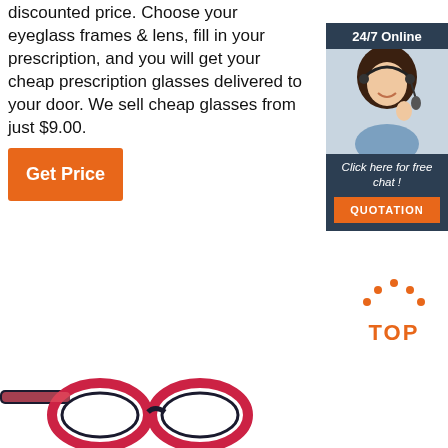discounted price. Choose your eyeglass frames & lens, fill in your prescription, and you will get your cheap prescription glasses delivered to your door. We sell cheap glasses from just $9.00.
[Figure (illustration): Orange 'Get Price' button]
[Figure (illustration): 24/7 Online chat widget with photo of a woman wearing headset, 'Click here for free chat!' text, and orange QUOTATION button]
[Figure (logo): Orange 'TOP' logo with dots forming an arch above the text]
[Figure (photo): Partial view of eyeglasses with red/pink and black frames at the bottom of the page]